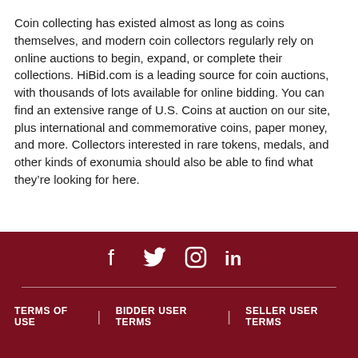Coin collecting has existed almost as long as coins themselves, and modern coin collectors regularly rely on online auctions to begin, expand, or complete their collections. HiBid.com is a leading source for coin auctions, with thousands of lots available for online bidding. You can find an extensive range of U.S. Coins at auction on our site, plus international and commemorative coins, paper money, and more. Collectors interested in rare tokens, medals, and other kinds of exonumia should also be able to find what they're looking for here.
Social icons: f (Facebook), Twitter bird, Instagram camera, in (LinkedIn) | TERMS OF USE | BIDDER USER TERMS | SELLER USER TERMS